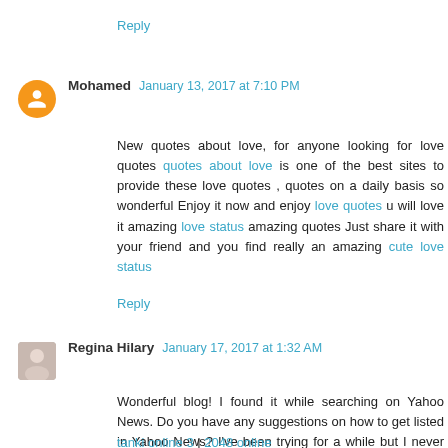Reply
Mohamed  January 13, 2017 at 7:10 PM
New quotes about love, for anyone looking for love quotes quotes about love is one of the best sites to provide these love quotes , quotes on a daily basis so wonderful Enjoy it now and enjoy love quotes u will love it amazing love status amazing quotes Just share it with your friend and you find really an amazing cute love status
Reply
Regina Hilary  January 17, 2017 at 1:32 AM
Wonderful blog! I found it while searching on Yahoo News. Do you have any suggestions on how to get listed in Yahoo News? I've been trying for a while but I never seem to get there! Many thanks.
tanki online 3 | 2048 online